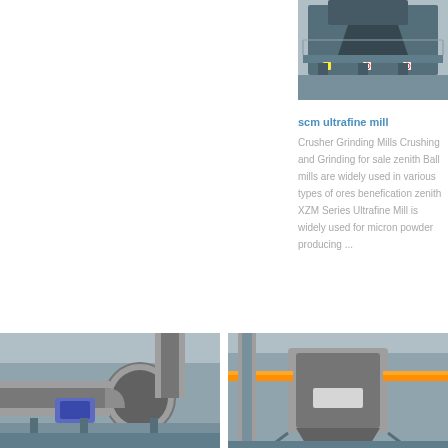[Figure (photo): Industrial crushing/screening machine photographed from above, with safety warning signs visible on the structure, metallic grey tones]
scm ultrafine mill
Crusher Grinding Mills Crushing and Grinding for sale zenith Ball mills are widely used in various types of ores benefication zenith XZM Series Ultrafine Mill is widely used for micron powder producing ...
[Figure (photo): Industrial mill with large pipes and ductwork, inside a factory building, featuring circular ducts and mechanical equipment]
[Figure (photo): Industrial grinding mill equipment with orange-highlighted piping, large cylindrical structures in grey tones]